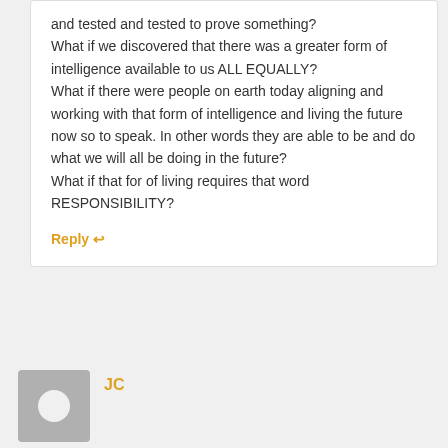and tested and tested to prove something? What if we discovered that there was a greater form of intelligence available to us ALL EQUALLY? What if there were people on earth today aligning and working with that form of intelligence and living the future now so to speak. In other words they are able to be and do what we will all be doing in the future? What if that for of living requires that word RESPONSIBILITY?
Reply ↩
[Figure (illustration): Generic user avatar: grey square with white circle representing a profile photo placeholder]